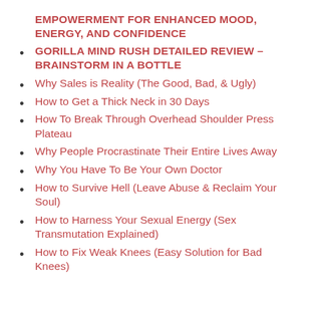EMPOWERMENT FOR ENHANCED MOOD, ENERGY, AND CONFIDENCE
GORILLA MIND RUSH DETAILED REVIEW – BRAINSTORM IN A BOTTLE
Why Sales is Reality (The Good, Bad, & Ugly)
How to Get a Thick Neck in 30 Days
How To Break Through Overhead Shoulder Press Plateau
Why People Procrastinate Their Entire Lives Away
Why You Have To Be Your Own Doctor
How to Survive Hell (Leave Abuse & Reclaim Your Soul)
How to Harness Your Sexual Energy (Sex Transmutation Explained)
How to Fix Weak Knees (Easy Solution for Bad Knees)